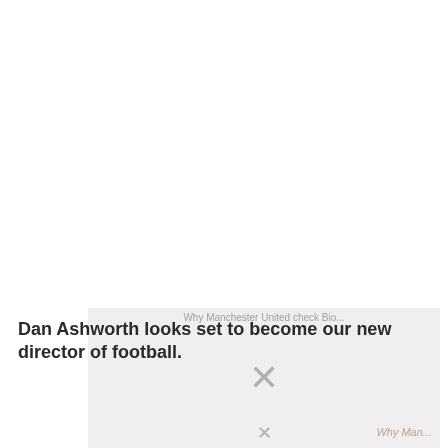[Figure (photo): A partially loaded or placeholder image area showing a faint overlay with text 'Why Manchester United check Bio...' and an X placeholder mark, with some faded imagery in the background.]
Dan Ashworth looks set to become our new director of football.